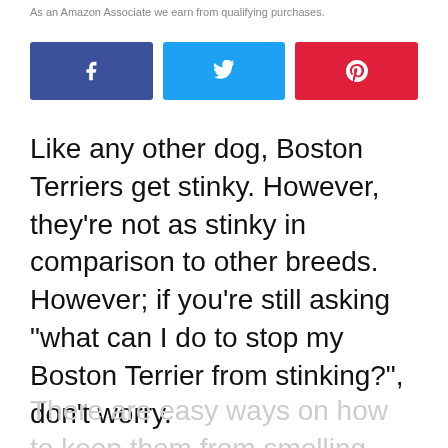As an Amazon Associate we earn from qualifying purchases.
[Figure (other): Social share buttons: Facebook (blue), Twitter (cyan), Pinterest (red)]
Like any other dog, Boston Terriers get stinky. However, they’re not as stinky in comparison to other breeds. However; if you’re still asking “what can I do to stop my Boston Terrier from stinking?”, don’t worry.
There are easy ways on how to keep them from smelling bad.